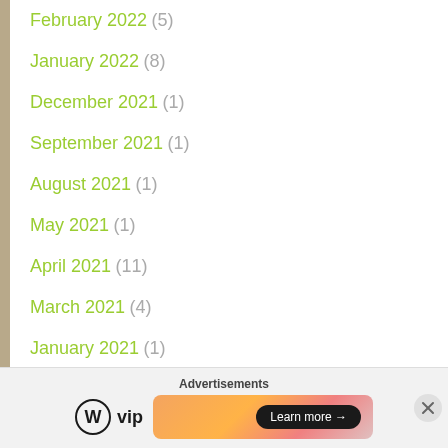February 2022 (5)
January 2022 (8)
December 2021 (1)
September 2021 (1)
August 2021 (1)
May 2021 (1)
April 2021 (11)
March 2021 (4)
January 2021 (1)
December 2020 (1)
Advertisements
[Figure (logo): WordPress VIP logo with circular W icon and 'vip' text]